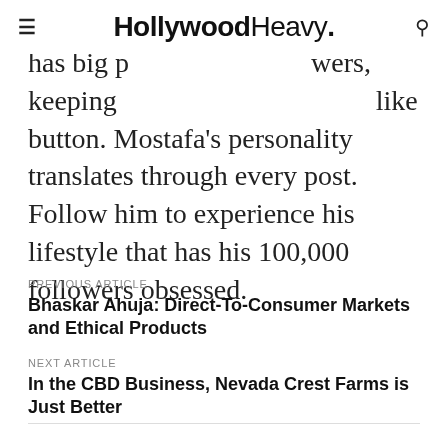≡  HollywoodHeavy.  🔍
has big p                    wers, keeping                         like button. Mostafa's personality translates through every post. Follow him to experience his lifestyle that has his 100,000 followers obsessed.
PREVIOUS ARTICLE
Bhaskar Ahuja: Direct-To-Consumer Markets and Ethical Products
NEXT ARTICLE
In the CBD Business, Nevada Crest Farms is Just Better